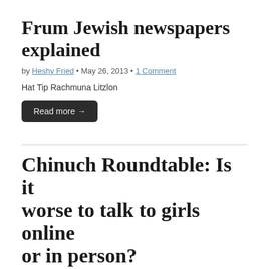Frum Jewish newspapers explained
by Heshy Fried • May 26, 2013 • 1 Comment
Hat Tip Rachmuna Litzlon
Read more →
Chinuch Roundtable: Is it worse to talk to girls online or in person?
by Heshy Fried • April 28, 2012 • 13 Comments
Dear Chinuch Roundtable, I recently noticed that my teenage son was spending more time online than usual. The computer is in the